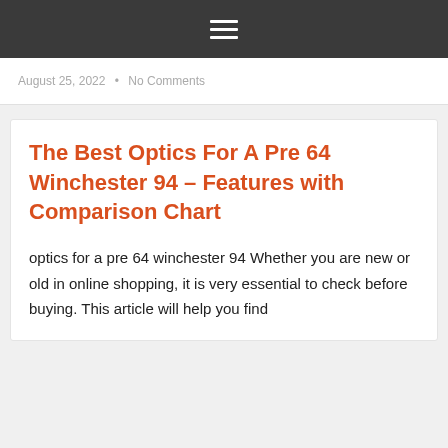≡
August 25, 2022 • No Comments
The Best Optics For A Pre 64 Winchester 94 – Features with Comparison Chart
optics for a pre 64 winchester 94 Whether you are new or old in online shopping, it is very essential to check before buying. This article will help you find